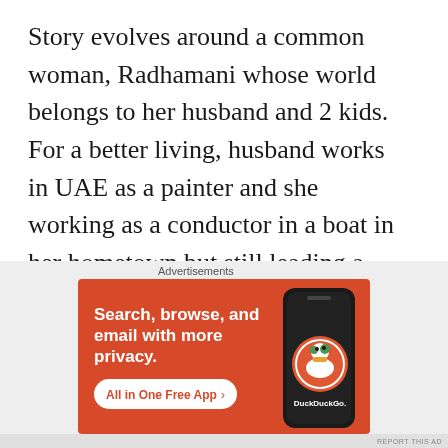Story evolves around a common woman, Radhamani whose world belongs to her husband and 2 kids. For a better living, husband works in UAE as a painter and she working as a conductor in a boat in her hometown but still leading a peaceful life..
One fine day an incident which makes the fire inside her to fight against the atrocity done
Advertisements
[Figure (other): DuckDuckGo advertisement banner with orange background. Text reads 'Search, browse, and email with more privacy.' with a white button 'All in One Free App' and a phone image showing the DuckDuckGo logo.]